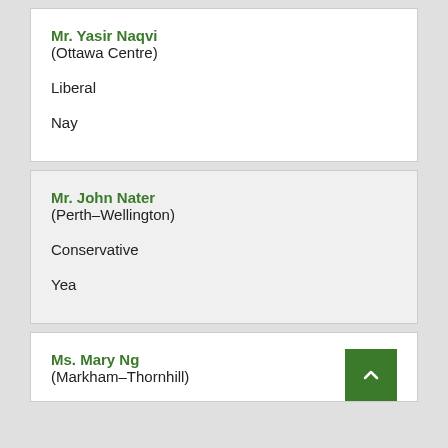Mr. Yasir Naqvi
(Ottawa Centre)

Liberal

Nay
Mr. John Nater
(Perth–Wellington)

Conservative

Yea
Ms. Mary Ng
(Markham–Thornhill)